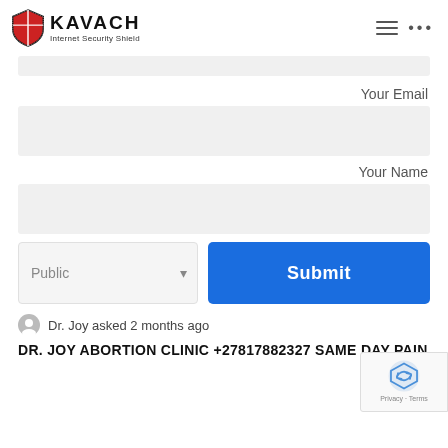KAVACH Internet Security Shield
Your Email
Your Name
Public
Submit
Dr. Joy asked 2 months ago
DR. JOY ABORTION CLINIC +27817882327 SAME DAY PAIN